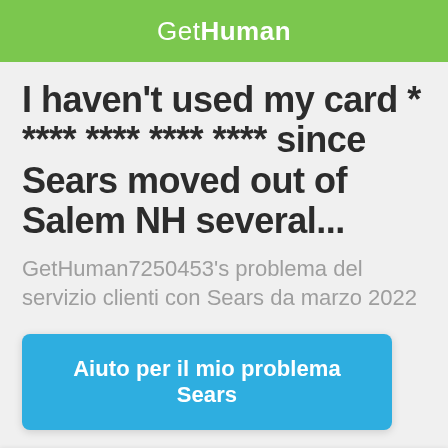GetHuman
I haven't used my card * **** **** **** **** since Sears moved out of Salem NH several...
GetHuman7250453's problema del servizio clienti con Sears da marzo 2022
Aiuto per il mio problema Sears
First: share to improve GetHuman7250453's